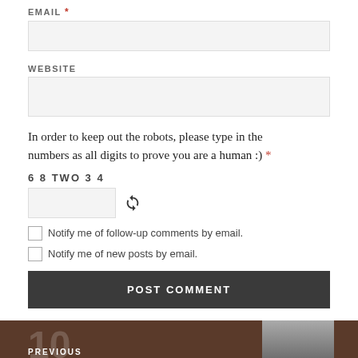EMAIL *
WEBSITE
In order to keep out the robots, please type in the numbers as all digits to prove you are a human :) *
6 8 TWO 3 4
Notify me of follow-up comments by email.
Notify me of new posts by email.
POST COMMENT
PREVIOUS